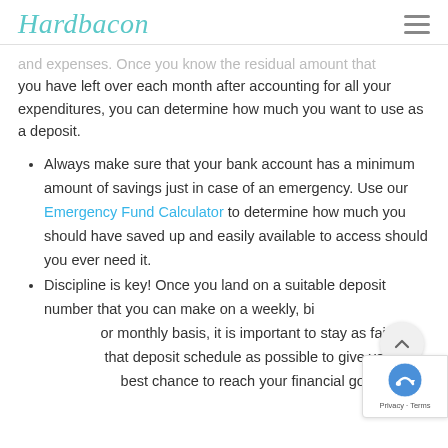Hardbacon
and expenses. Once you know the residual amount that you have left over each month after accounting for all your expenditures, you can determine how much you want to use as a deposit.
Always make sure that your bank account has a minimum amount of savings just in case of an emergency. Use our Emergency Fund Calculator to determine how much you should have saved up and easily available to access should you ever need it.
Discipline is key! Once you land on a suitable deposit number that you can make on a weekly, bi-weekly, or monthly basis, it is important to stay as faithful to that deposit schedule as possible to give you the best chance to reach your financial goals.